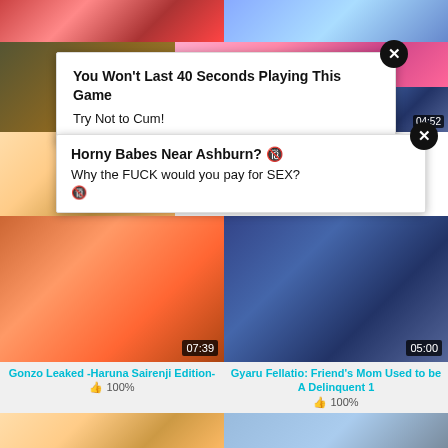[Figure (screenshot): Adult content website screenshot showing video thumbnails with ad overlays]
You Won't Last 40 Seconds Playing This Game
Try Not to Cum!
Horny Babes Near Ashburn? 🔞
Why the FUCK would you pay for SEX?
🔞
Gonzo Leaked -Haruna Sairenji Edition-
👍 100%
Gyaru Fellatio: Friend's Mom Used to be A Delinquent 1
👍 100%